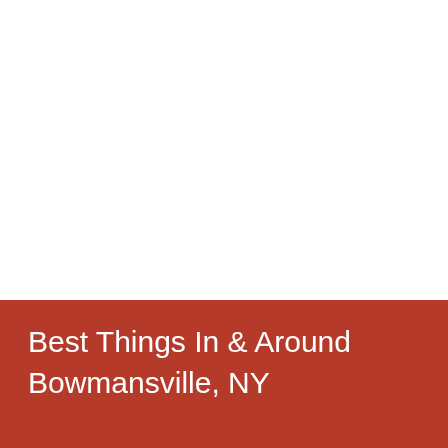[Figure (other): White blank area (image placeholder or slider content area)]
[Figure (other): Pagination dot indicators: 10 dots in a row, first dot is active/dark gray, remaining 9 are light gray]
Best Things In & Around Bowmansville, NY